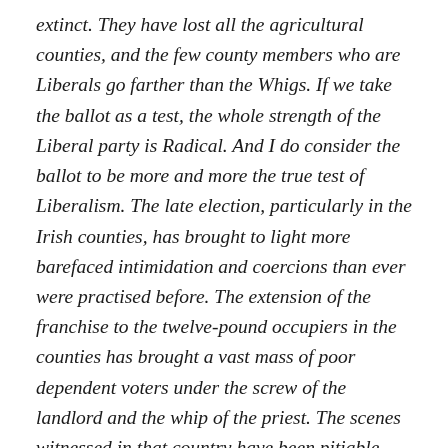extinct. They have lost all the agricultural counties, and the few county members who are Liberals go farther than the Whigs. If we take the ballot as a test, the whole strength of the Liberal party is Radical. And I do consider the ballot to be more and more the true test of Liberalism. The late election, particularly in the Irish counties, has brought to light more barefaced intimidation and coercions than ever were practised before. The extension of the franchise to the twelve-pound occupiers in the counties has brought a vast mass of poor dependent voters under the screw of the landlord and the whip of the priest. The scenes witnessed in that country have been pitiable and heartrending, and knowing that the ballot would be a perfect remedy against their recurrence, my blood almost boils with indignation at the puerile pretences with which it is resisted. And I have made up my mind that I will be no party to any measure for extending the